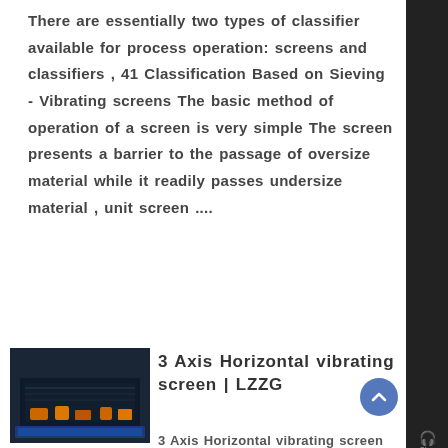There are essentially two types of classifier available for process operation: screens and classifiers , 41 Classification Based on Sieving - Vibrating screens The basic method of operation of a screen is very simple The screen presents a barrier to the passage of oversize material while it readily passes undersize material , unit screen ....
[Figure (photo): Thumbnail photo of a 3-axis horizontal vibrating screen machine against a dark background with orange/yellow mechanical components visible]
3 Axis Horizontal vibrating screen | LZZG
3 Axis Horizontal vibrating screen published date: 08-03-2019 SP type